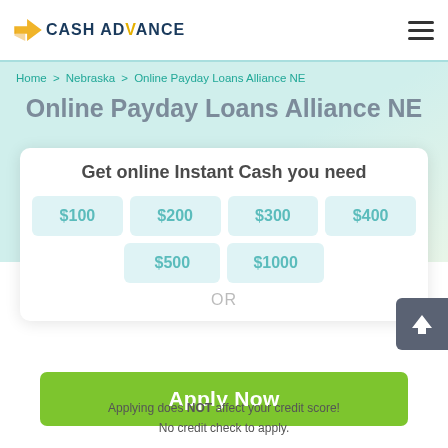CASH ADVANCE
Home > Nebraska > Online Payday Loans Alliance NE
Online Payday Loans Alliance NE
Get online Instant Cash you need
$100
$200
$300
$400
$500
$1000
OR
Apply Now
Applying does NOT affect your credit score!
No credit check to apply.